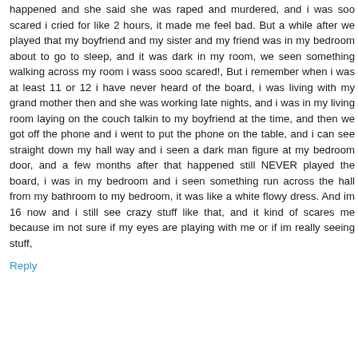happened and she said she was raped and murdered, and i was soo scared i cried for like 2 hours, it made me feel bad. But a while after we played that my boyfriend and my sister and my friend was in my bedroom about to go to sleep, and it was dark in my room, we seen something walking across my room i wass sooo scared!, But i remember when i was at least 11 or 12 i have never heard of the board, i was living with my grand mother then and she was working late nights, and i was in my living room laying on the couch talkin to my boyfriend at the time, and then we got off the phone and i went to put the phone on the table, and i can see straight down my hall way and i seen a dark man figure at my bedroom door, and a few months after that happened still NEVER played the board, i was in my bedroom and i seen something run across the hall from my bathroom to my bedroom, it was like a white flowy dress. And im 16 now and i still see crazy stuff like that, and it kind of scares me because im not sure if my eyes are playing with me or if im really seeing stuff,
Reply